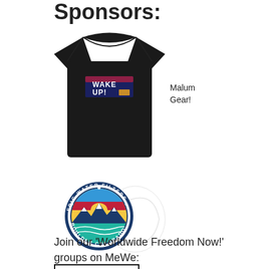Sponsors:
[Figure (photo): Black t-shirt with 'WAKE UP!' graphic on the chest, product image for Malum Gear]
Malum Gear!
[Figure (logo): Epic Water Filters circular logo with mountain and sun imagery, Boulder Colorado, with a 'SHOP NOW' button below]
Join our 'Worldwide Freedom Now!' groups on MeWe: